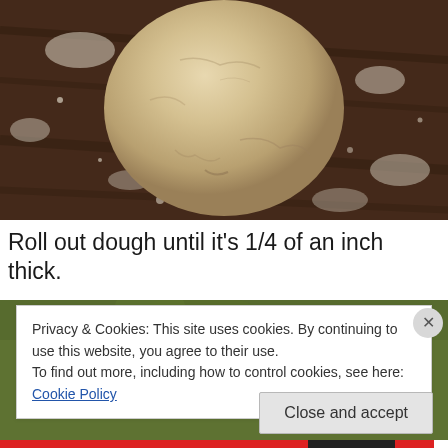[Figure (photo): A ball of bread/pizza dough on a floured dark wooden surface, viewed from above]
Roll out dough until it's 1/4 of an inch thick.
[Figure (photo): Partial view of a second photo showing green foliage/leaves, partially covered by cookie consent banner]
Privacy & Cookies: This site uses cookies. By continuing to use this website, you agree to their use.
To find out more, including how to control cookies, see here: Cookie Policy
Close and accept